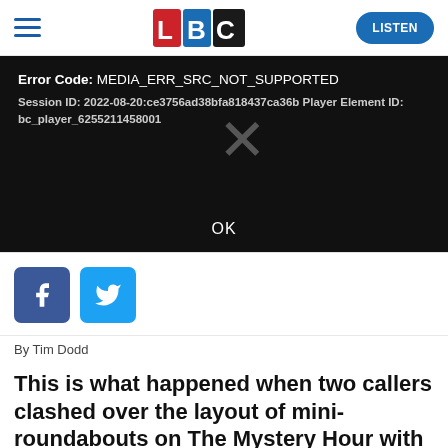LBC | LISTEN
[Figure (screenshot): Video player error screen showing black background with error message: Error Code: MEDIA_ERR_SRC_NOT_SUPPORTED, Session ID: 2022-08-20:ce3756ad38bfa818437ca36b Player Element ID: bc_player_6255211458001, with a large X icon and OK button]
[Figure (logo): Facebook share button (blue square with f icon) and Twitter share button (light blue square with bird icon)]
By Tim Dodd
This is what happened when two callers clashed over the layout of mini-roundabouts on The Mystery Hour with